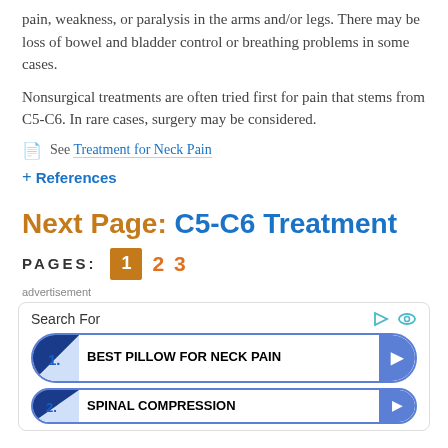pain, weakness, or paralysis in the arms and/or legs. There may be loss of bowel and bladder control or breathing problems in some cases.
Nonsurgical treatments are often tried first for pain that stems from C5-C6. In rare cases, surgery may be considered.
See Treatment for Neck Pain
+ References
Next Page: C5-C6 Treatment
PAGES: 1 2 3
advertisement
Search For
1. BEST PILLOW FOR NECK PAIN
2. SPINAL COMPRESSION